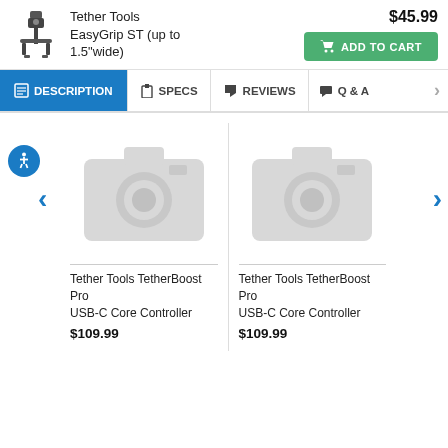Tether Tools EasyGrip ST (up to 1.5"wide)
$45.99
ADD TO CART
DESCRIPTION
SPECS
REVIEWS
Q & A
[Figure (photo): Placeholder camera image for product]
Tether Tools TetherBoost Pro USB-C Core Controller
$109.99
[Figure (photo): Placeholder camera image for product]
Tether Tools TetherBoost Pro USB-C Core Controller
$109.99